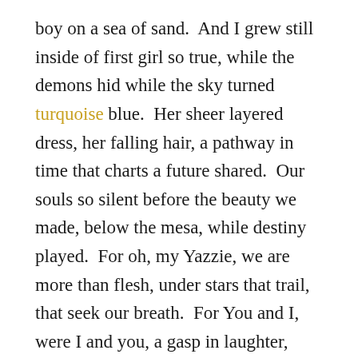boy on a sea of sand.  And I grew still inside of first girl so true, while the demons hid while the sky turned turquoise blue.  Her sheer layered dress, her falling hair, a pathway in time that charts a future shared.  Our souls so silent before the beauty we made, below the mesa, while destiny played.  For oh, my Yazzie, we are more than flesh, under stars that trail, that seek our breath.  For You and I, were I and you, a gasp in laughter, while worlds unglued.  A time together when where, was where.  Indus crosses meridian, this now September, my Yazzie you are over there.
Just last night as I tried to sleep, my mind so